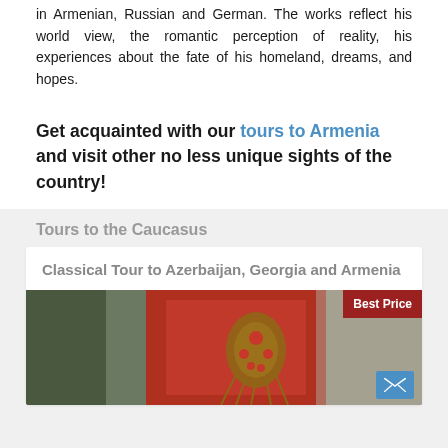in Armenian, Russian and German. The works reflect his world view, the romantic perception of reality, his experiences about the fate of his homeland, dreams, and hopes.
Get acquainted with our tours to Armenia and visit other no less unique sights of the country!
Tours to the Caucasus
Classical Tour to Azerbaijan, Georgia and Armenia
[Figure (photo): Photo of decorative traditional item, red fabric with ornate jewelry/beading. Best Price badge in top right corner, email button in bottom right corner.]